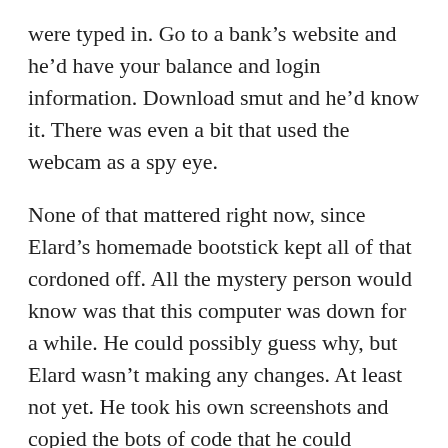were typed in. Go to a bank's website and he'd have your balance and login information. Download smut and he'd know it. There was even a bit that used the webcam as a spy eye.
None of that mattered right now, since Elard's homemade bootstick kept all of that cordoned off. All the mystery person would know was that this computer was down for a while. He could possibly guess why, but Elard wasn't making any changes. At least not yet. He took his own screenshots and copied the bots of code that he could without tripping any alarms.
It was no wonder that this person knew Melanie well. He or she would have been able to cyber stalk her for at least the last year. What she didn't do on her laptop she did hear. Hell, the person likely had her laptop owned as well since the girl used the same USB stick here and at home. She didn't update their antivirus as often as Elard recommended, not that most AV programs could keep up with people like the one who was